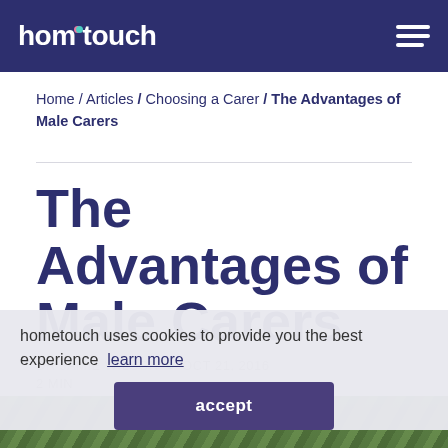hometouch
Home / Articles / Choosing a Carer / The Advantages of Male Carers
The Advantages of Male Carers
hometouch uses cookies to provide you the best experience  learn more
accept
DR JAMIE WILSON  •  OCT 21, 2016  2 MIN
[Figure (photo): Bottom strip showing green foliage/trees]